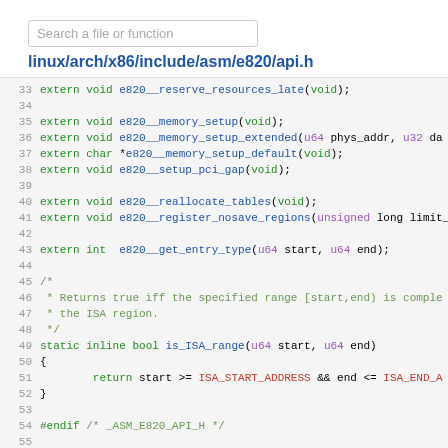Search a file or function
linux/arch/x86/include/asm/e820/api.h
[Figure (screenshot): Source code listing of linux/arch/x86/include/asm/e820/api.h, lines 33-55, showing extern declarations and a static inline function is_ISA_range]
Generated while processing linux/arch/x86/boot/compressed/kaslr.c
Generated on 2019-Mar-29 from project linux revision v5.1-rc2